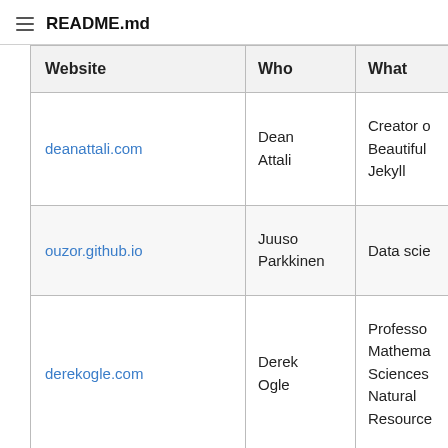README.md
| Website | Who | What |
| --- | --- | --- |
| deanattali.com | Dean Attali | Creator o Beautiful Jekyll |
| ouzor.github.io | Juuso Parkkinen | Data scie |
| derekogle.com | Derek Ogle | Professor Mathema Sciences Natural Resource |
| melyanna.github.io | Melyanna | Shows of nice art |